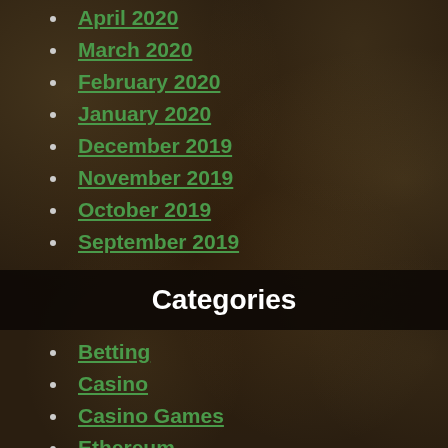April 2020
March 2020
February 2020
January 2020
December 2019
November 2019
October 2019
September 2019
Categories
Betting
Casino
Casino Games
Ethereum